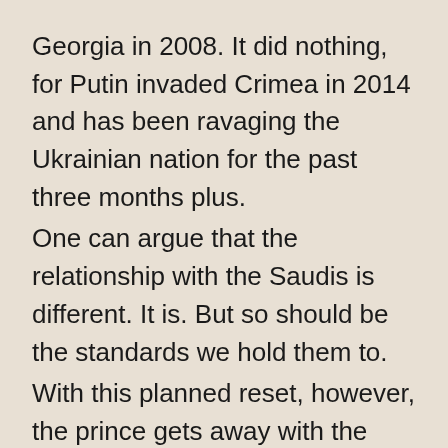Georgia in 2008. It did nothing, for Putin invaded Crimea in 2014 and has been ravaging the Ukrainian nation for the past three months plus.
One can argue that the relationship with the Saudis is different. It is. But so should be the standards we hold them to.
With this planned reset, however, the prince gets away with the assassination of Khashoggi.
Authorizing such act took planning on the part of the prince. It took thinking of the consequences. It was not a rash act. And the